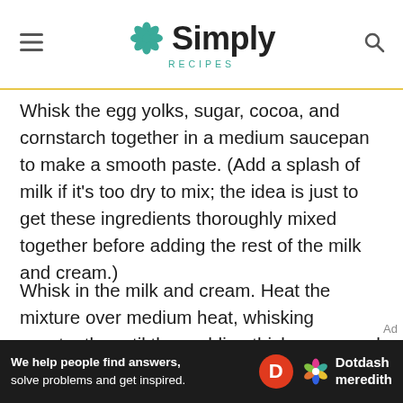Simply Recipes
Whisk the egg yolks, sugar, cocoa, and cornstarch together in a medium saucepan to make a smooth paste. (Add a splash of milk if it’s too dry to mix; the idea is just to get these ingredients thoroughly mixed together before adding the rest of the milk and cream.)
Whisk in the milk and cream. Heat the mixture over medium heat, whisking constantly, until the pudding thickens enough to leave visible tracks from the whisk. This could take anywhere from 10 to 20 minutes depending on your stovetop. Don’t be
[Figure (other): Dotdash Meredith advertisement banner: 'We help people find answers, solve problems and get inspired.']